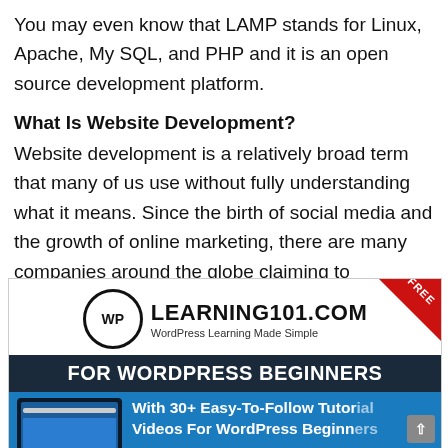You may even know that LAMP stands for Linux, Apache, My SQL, and PHP and it is an open source development platform.
What Is Website Development?
Website development is a relatively broad term that many of us use without fully understanding what it means. Since the birth of social media and the growth of online marketing, there are many companies around the globe claiming to specialise in this area.
[Figure (screenshot): WP Learning101.com advertisement banner for WordPress Beginners course. Shows logo with 'WP' in circle, 'LEARNING101.COM WordPress Learning Made Simple', a red FREE badge, dark blue banner 'FOR WORDPRESS BEGINNERS', blue section with laptop screenshot and text 'With 30+ Easy-To-Follow Tutorial Videos For WordPress Beginners']